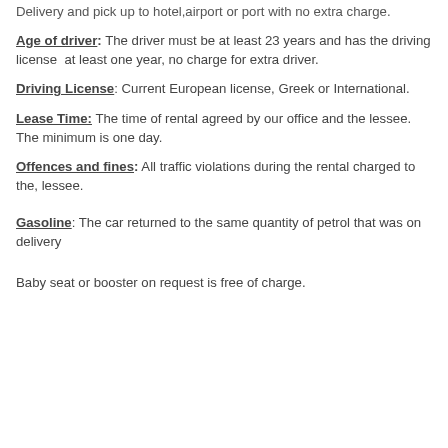Delivery and pick up to hotel,airport or port with no extra charge.
Age of driver: The driver must be at least 23 years and has the driving license  at least one year, no charge for extra driver.
Driving License: Current European license, Greek or International.
Lease Time: The time of rental agreed by our office and the lessee. The minimum is one day.
Offences and fines: All traffic violations during the rental charged to the, lessee.
Gasoline: The car returned to the same quantity of petrol that was on delivery
Baby seat or booster on request is free of charge.